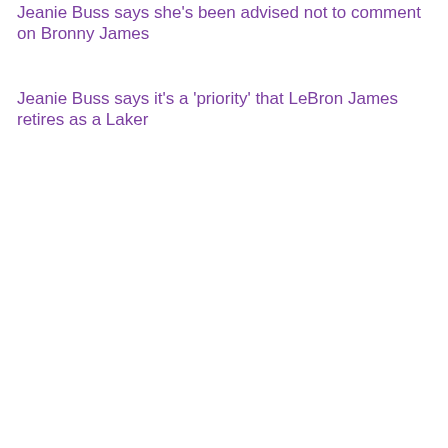Jeanie Buss says she's been advised not to comment on Bronny James
Jeanie Buss says it's a 'priority' that LeBron James retires as a Laker